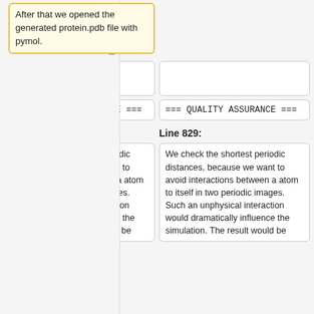After that we opened the generated protein.pdb file with pymol.
=== QUALITY ASSURANCE ===
=== QUALITY ASSURANCE ===
Line 833:
Line 829:
We check the shortest periodic distances, because we want to avoid interactions between a atom to itself in two periodic images. Such an unphysical interaction would dramatically influence the simulation. The result would be
We check the shortest periodic distances, because we want to avoid interactions between a atom to itself in two periodic images. Such an unphysical interaction would dramatically influence the simulation. The result would be